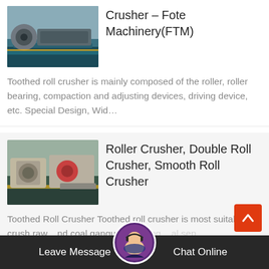[Figure (photo): Photo of a toothed roll crusher machine in a factory, blue floor, industrial setting]
Crusher - Fote Machinery(FTM)
Toothed roll crusher is mainly composed of the roller, roller bearing, compaction and adjusting devices, driving device, etc. Special Design, Wid...
[Figure (photo): Photo of a roller crusher / double roll crusher machine in a factory with yellow floor markings]
Roller Crusher, Double Roll Crusher, Smooth Roll Crusher
Toothed Roll Crusher Toothed roll crusher is most suitable to crush raw... and coal gangue in mining... al sep...
Leave Message   Chat Online